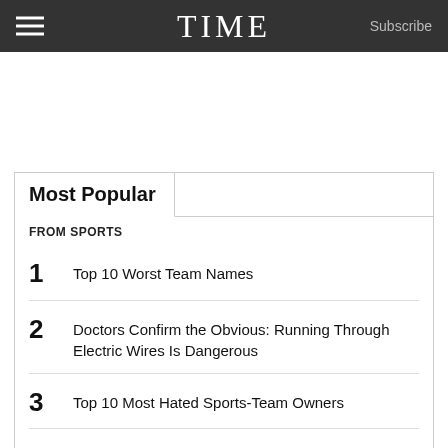TIME | Subscribe
Most Popular
FROM SPORTS
1  Top 10 Worst Team Names
2  Doctors Confirm the Obvious: Running Through Electric Wires Is Dangerous
3  Top 10 Most Hated Sports-Team Owners
4  The Evolution of Barry Bonds
5  Why Qatar is Spending $200 Billion On Soccer